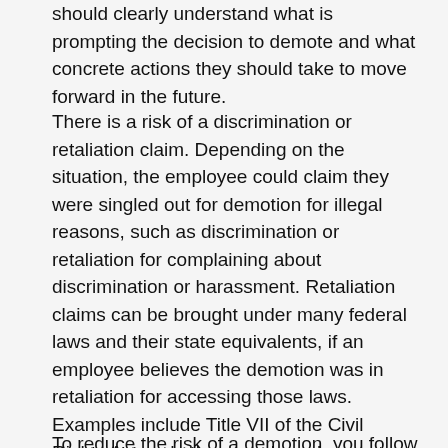should clearly understand what is prompting the decision to demote and what concrete actions they should take to move forward in the future.
There is a risk of a discrimination or retaliation claim. Depending on the situation, the employee could claim they were singled out for demotion for illegal reasons, such as discrimination or retaliation for complaining about discrimination or harassment. Retaliation claims can be brought under many federal laws and their state equivalents, if an employee believes the demotion was in retaliation for accessing those laws. Examples include Title VII of the Civil Rights Act and other equal employment opportunity laws, the Family and Medical Leave Act, the Fair Labor Standards Act, the National Labor Relations Act and the False Claims Act.
To reduce the risk of a demotion, you follow...